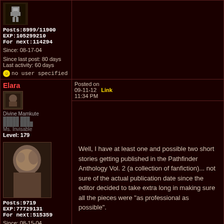Posts:8999/11900 EXP:105299210 For next:114294 Since: 08-17-04 Since last post: 80 days Last activity: 60 days no user specified
Elara - Divine Mamkute - Ms. Invisable - Level: 179 - Posts:9719 EXP:77729131 For next:515359 Since: 08-15-04 From: Ferelden Since last post: 60 days Last activity: 24 days no user specified
Posted on 09-11-12 Link 11:34 PM
Well, I have at least one and possible two short stories getting published in the Pathfinder Anthology Vol. 2 (a collection of fanfiction)... not sure of the actual publication date since the editor decided to take extra long in making sure all the pieces were "as professional as possible".

Everything else is kind of at a standstill because of school and work dominating my time.
Rogue - If you're reading this... You are the Resistance
Posted on 09-12-12 Link 12:20 AM
If you could have any food or drink from a particular...